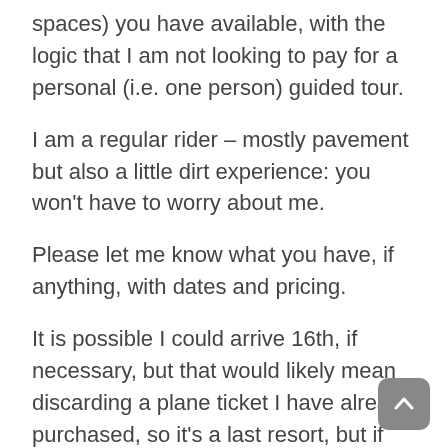spaces) you have available, with the logic that I am not looking to pay for a personal (i.e. one person) guided tour.
I am a regular rider – mostly pavement but also a little dirt experience: you won't have to worry about me.
Please let me know what you have, if anything, with dates and pricing.
It is possible I could arrive 16th, if necessary, but that would likely mean discarding a plane ticket I have already purchased, so it's a last resort, but if the choices are few, you could include that option. Thanks, Bob.